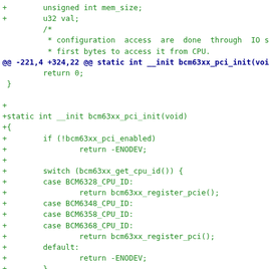[Figure (screenshot): A code diff showing added C source code for bcm63xx PCI initialization, with added lines shown in green and a hunk header in dark blue.]